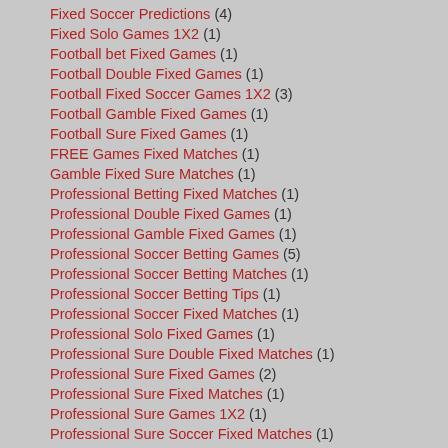Fixed Soccer Predictions (4)
Fixed Solo Games 1X2 (1)
Football bet Fixed Games (1)
Football Double Fixed Games (1)
Football Fixed Soccer Games 1X2 (3)
Football Gamble Fixed Games (1)
Football Sure Fixed Games (1)
FREE Games Fixed Matches (1)
Gamble Fixed Sure Matches (1)
Professional Betting Fixed Matches (1)
Professional Double Fixed Games (1)
Professional Gamble Fixed Games (1)
Professional Soccer Betting Games (5)
Professional Soccer Betting Matches (1)
Professional Soccer Betting Tips (1)
Professional Soccer Fixed Matches (1)
Professional Solo Fixed Games (1)
Professional Sure Double Fixed Matches (1)
Professional Sure Fixed Games (2)
Professional Sure Fixed Matches (1)
Professional Sure Games 1X2 (1)
Professional Sure Soccer Fixed Matches (1)
Professional Sure Soccer Games (4)
Rigged Solo Fixed Games (1)
Saturday Fixed Games 1X2 (1)
Saturday Solo Fixed Games (1)
Soccer Betting Solo Predictions (1)
Soccer Double Fixed Games (1)